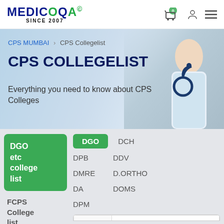MEDICOQA SINCE 2007
[Figure (screenshot): Banner with doctor image background showing CPS Collegelist heading and breadcrumb navigation]
CPS COLLEGELIST
Everything you need to know about CPS Colleges
DGO etc college list
FCPS College list
DGO  DCH  DPB  DDV  DMRE  D.ORTHO  DA  DOMS  DPM
| Course | College |
| --- | --- |
| DGO | Govt. Medical College, Chandrapur |